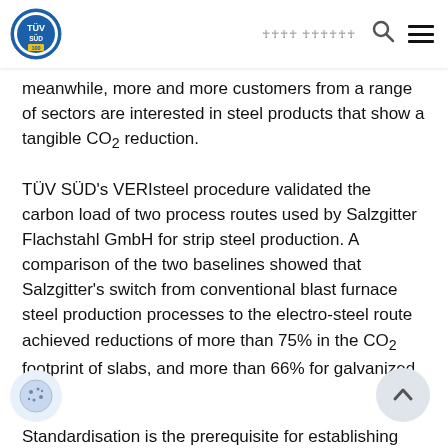TÜV SÜD [navigation header with logo, search, and menu icons]
meanwhile, more and more customers from a range of sectors are interested in steel products that show a tangible CO₂ reduction.
TÜV SÜD's VERIsteel procedure validated the carbon load of two process routes used by Salzgitter Flachstahl GmbH for strip steel production. A comparison of the two baselines showed that Salzgitter's switch from conventional blast furnace steel production processes to the electro-steel route achieved reductions of more than 75% in the CO₂ footprint of slabs, and more than 66% for galvanized coils.
Standardisation is the prerequisite for establishing the comparability of processes and products. For Salzg... SÜD's neutral and transparent VERIsteel service provided the basis for a sound CO₂ statement regarding...